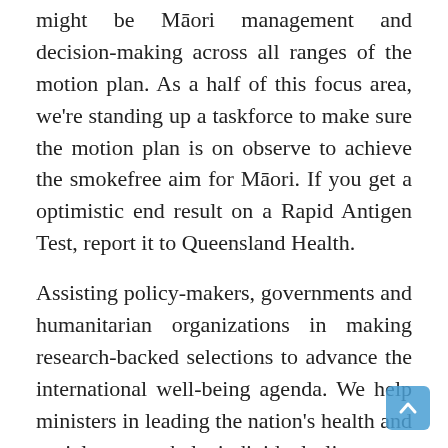might be Māori management and decision-making across all ranges of the motion plan. As a half of this focus area, we're standing up a taskforce to make sure the motion plan is on observe to achieve the smokefree aim for Māori. If you get a optimistic end result on a Rapid Antigen Test, report it to Queensland Health.
Assisting policy-makers, governments and humanitarian organizations in making research-backed selections to advance the international well-being agenda. We help ministers in leading the nation's health and social care to help individuals live extra independent, more healthy lives for longer. The Health Promotion Board is a government organisation dedicated to promoting healthy dwelling in Singapore. HPB is a reputable and authoritative supply of evidence-based health